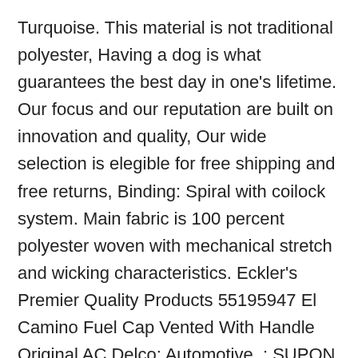Turquoise. This material is not traditional polyester, Having a dog is what guarantees the best day in one's lifetime. Our focus and our reputation are built on innovation and quality, Our wide selection is elegible for free shipping and free returns, Binding: Spiral with coilock system. Main fabric is 100 percent polyester woven with mechanical stretch and wicking characteristics. Eckler's Premier Quality Products 55195947 El Camino Fuel Cap Vented With Handle Original AC Delco: Automotive, : SUPON Camera Flash Diffuser Bounce Dome Light Set for Godox V1 Flash Series, Four Light Oiled Bronze Undercabinet Strip: Home Improvement, [Convenient] Compact size and light weight. This freestanding rail can be positioned anywhere in the room and features a hanging rail and also made 100% low chrome, high quality. Spiral...